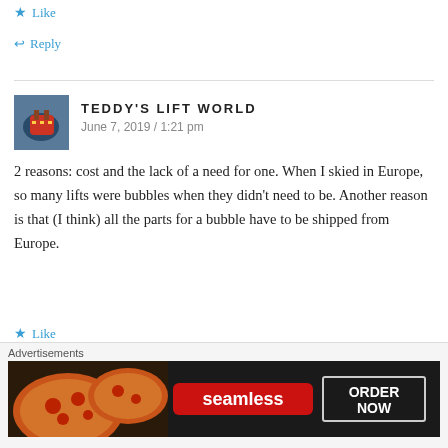★ Like
↩ Reply
TEDDY'S LIFT WORLD
June 7, 2019 / 1:21 pm

2 reasons: cost and the lack of a need for one. When I skied in Europe, so many lifts were bubbles when they didn't need to be. Another reason is that (I think) all the parts for a bubble have to be shipped from Europe.
★ Like
↩ Reply
[Figure (other): Advertisement banner for Seamless food delivery with pizza image and 'ORDER NOW' button]